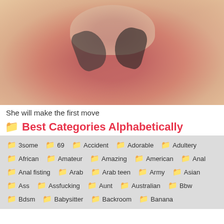[Figure (photo): Close-up photo with warm skin tones and hands with dark nail polish]
She will make the first move
Best Categories Alphabetically
3some  69  Accident  Adorable  Adultery
African  Amateur  Amazing  American  Anal
Anal fisting  Arab  Arab teen  Army  Asian
Ass  Assfucking  Aunt  Australian  Bbw
Bdsm  Babysitter  Backroom  Banana